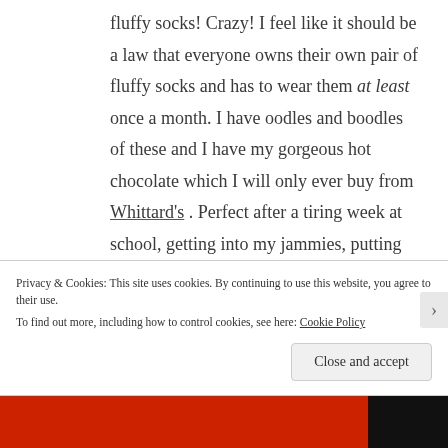fluffy socks! Crazy! I feel like it should be a law that everyone owns their own pair of fluffy socks and has to wear them at least once a month. I have oodles and boodles of these and I have my gorgeous hot chocolate which I will only ever buy from Whittard's . Perfect after a tiring week at school, getting into my jammies, putting on whatever binge-worthy thing I'm watching this
Privacy & Cookies: This site uses cookies. By continuing to use this website, you agree to their use.
To find out more, including how to control cookies, see here: Cookie Policy
Close and accept